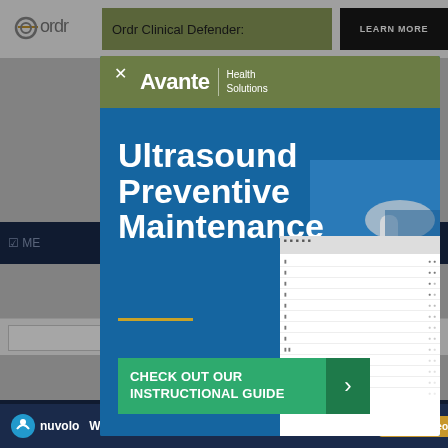Ordr Clinical Defender:    LEARN MORE
[Figure (screenshot): Advertisement modal popup for Avante Health Solutions - Ultrasound Preventive Maintenance with a call-to-action button 'CHECK OUT OUR INSTRUCTIONAL GUIDE']
Ultrasound Preventive Maintenance
CHECK OUT OUR INSTRUCTIONAL GUIDE
nuvolo   Work Smarter, Not Harder!   Watch Video